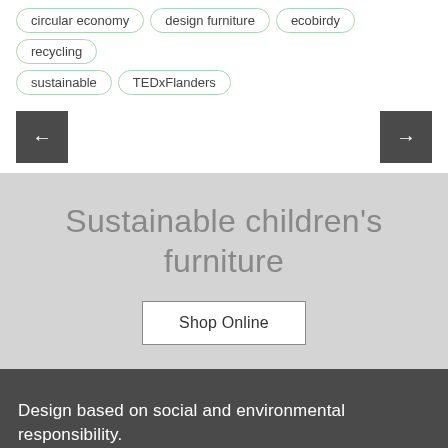circular economy
design furniture
ecobirdy
recycling
sustainable
TEDxFlanders
Sustainable children's furniture
Shop Online
Design based on social and environmental responsibility.